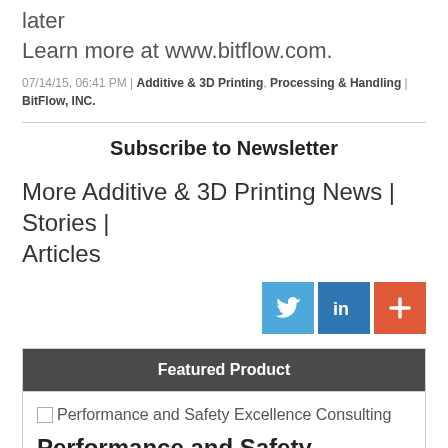later
Learn more at www.bitflow.com.
07/14/15, 06:41 PM | Additive & 3D Printing, Processing & Handling | BitFlow, INC.
Subscribe to Newsletter
More Additive & 3D Printing News | Stories | Articles
[Figure (infographic): Social sharing buttons: Twitter (blue), LinkedIn (blue), and a plus/share button (orange-red)]
Featured Product
Performance and Safety Excellence Consulting
Performance and Safety Excellence